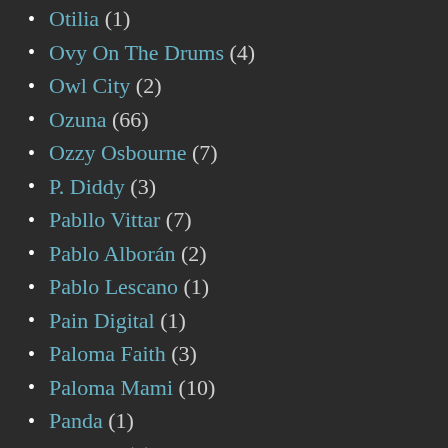Otilia (1)
Ovy On The Drums (4)
Owl City (2)
Ozuna (66)
Ozzy Osbourne (7)
P. Diddy (3)
Pabllo Vittar (7)
Pablo Alborán (2)
Pablo Lescano (1)
Pain Digital (1)
Paloma Faith (3)
Paloma Mami (10)
Panda (1)
Pandora (1)
Panic! At The Disco (1)
Papatinho (1)
Panoose (1)